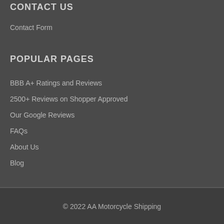CONTACT US
Contact Form
POPULAR PAGES
BBB A+ Ratings and Reviews
2500+ Reviews on Shopper Approved
Our Google Reviews
FAQs
About Us
Blog
© 2022 AA Motorcycle Shipping